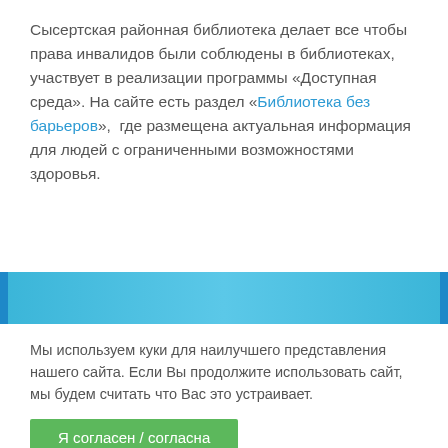Сысертская районная библиотека делает все чтобы права инвалидов были соблюдены в библиотеках, участвует в реализации программы «Доступная среда». На сайте есть раздел «Библиотека без барьеров»,  где размещена актуальная информация для людей с ограниченными возможностями здоровья.
Мы используем куки для наилучшего представления нашего сайта. Если Вы продолжите использовать сайт, мы будем считать что Вас это устраивает.
Я согласен / согласна